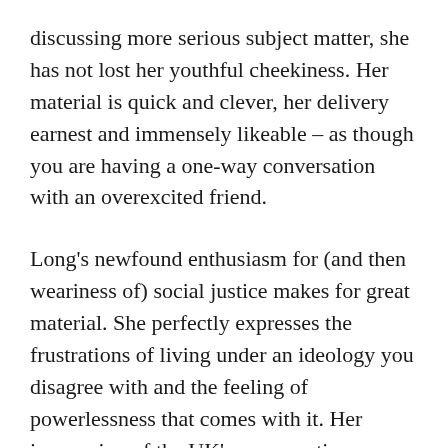discussing more serious subject matter, she has not lost her youthful cheekiness. Her material is quick and clever, her delivery earnest and immensely likeable – as though you are having a one-way conversation with an overexcited friend.
Long's newfound enthusiasm for (and then weariness of) social justice makes for great material. She perfectly expresses the frustrations of living under an ideology you disagree with and the feeling of powerlessness that comes with it. Her impression of the UK's conservative government is made all the funnier by the presence of her real passion behind the joke. Social justice could be a